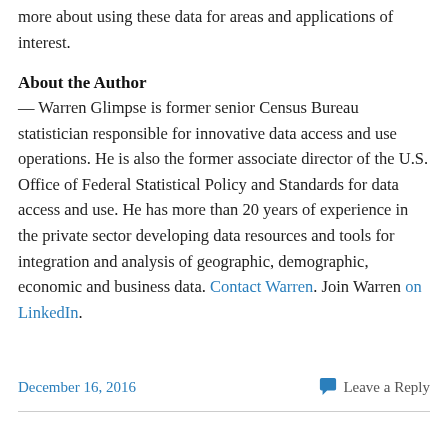more about using these data for areas and applications of interest.
About the Author
— Warren Glimpse is former senior Census Bureau statistician responsible for innovative data access and use operations. He is also the former associate director of the U.S. Office of Federal Statistical Policy and Standards for data access and use. He has more than 20 years of experience in the private sector developing data resources and tools for integration and analysis of geographic, demographic, economic and business data. Contact Warren. Join Warren on LinkedIn.
December 16, 2016   Leave a Reply